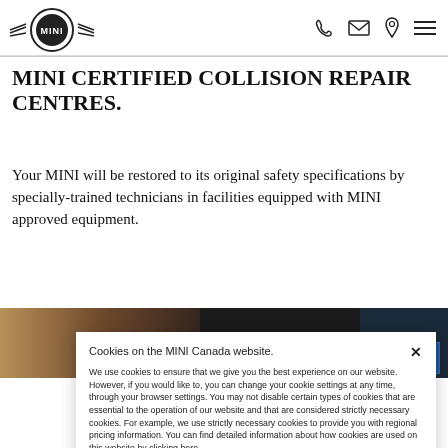MINI logo and navigation icons (phone, email, location, menu)
MINI CERTIFIED COLLISION REPAIR CENTRES.
Your MINI will be restored to its original safety specifications by specially-trained technicians in facilities equipped with MINI approved equipment.
[Figure (photo): Dark banner with 'LEARN MORE' text in white uppercase letters, overlaid on a road/outdoor scene photograph]
Cookies on the MINI Canada website.

We use cookies to ensure that we give you the best experience on our website. However, if you would like to, you can change your cookie settings at any time, through your browser settings. You may not disable certain types of cookies that are essential to the operation of our website and that are considered strictly necessary cookies. For example, we use strictly necessary cookies to provide you with regional pricing information. You can find detailed information about how cookies are used on this website by clicking here.